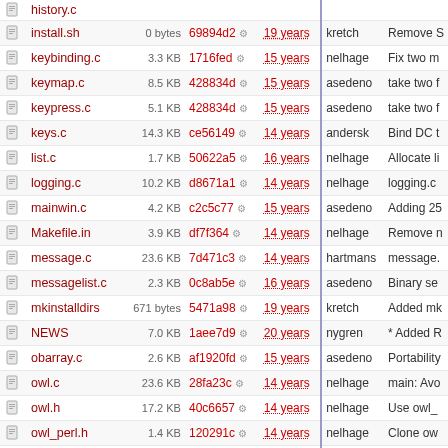|  | Name | Size | Commit | Age | Author | Message |
| --- | --- | --- | --- | --- | --- | --- |
|  | install.sh | 0 bytes | 69894d2 | 19 years | kretch | Remove S |
|  | keybinding.c | 3.3 KB | 1716fed | 15 years | nelhage | Fix two m |
|  | keymap.c | 8.5 KB | 428834d | 15 years | asedeno | take two f |
|  | keypress.c | 5.1 KB | 428834d | 15 years | asedeno | take two f |
|  | keys.c | 14.3 KB | ce56149 | 14 years | andersk | Bind DC t |
|  | list.c | 1.7 KB | 50622a5 | 16 years | nelhage | Allocate li |
|  | logging.c | 10.2 KB | d8671a1 | 14 years | nelhage | logging.c |
|  | mainwin.c | 4.2 KB | c2c5c77 | 15 years | asedeno | Adding 25 |
|  | Makefile.in | 3.9 KB | df7f364 | 14 years | nelhage | Remove n |
|  | message.c | 23.6 KB | 7d471c3 | 14 years | hartmans | message. |
|  | messagelist.c | 2.3 KB | 0c8ab5e | 16 years | asedeno | Binary se |
|  | mkinstalldirs | 671 bytes | 5471a98 | 19 years | kretch | Added mk |
|  | NEWS | 7.0 KB | 1aee7d9 | 20 years | nygren | * Added R |
|  | obarray.c | 2.6 KB | af1920fd | 15 years | asedeno | Portability |
|  | owl.c | 23.6 KB | 28fa23c | 14 years | nelhage | main: Avo |
|  | owl.h | 17.2 KB | 40c6657 | 14 years | nelhage | Use owl_ |
|  | owl_perl.h | 1.4 KB | 120291c | 14 years | nelhage | Clone ow |
|  | pair.c | 372 bytes | de1c8a5 | 14 years | andersk | Specialize |
|  | perlconfig.c | 12.3 KB | e9c6d8f | 14 years | nelhage | Call... |